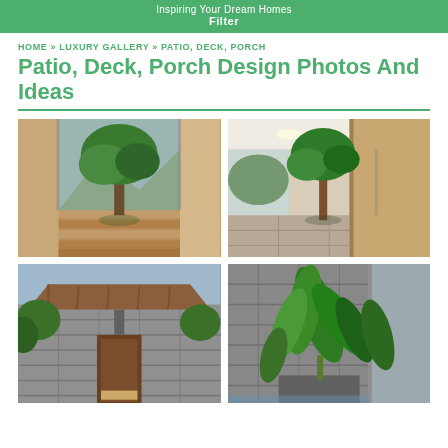Inspiring Your Dream Homes
Filter
HOME » LUXURY GALLERY » PATIO, DECK, PORCH
Patio, Deck, Porch Design Photos And Ideas
[Figure (photo): Indoor patio with lush green trees, wooden deck flooring, and glass walls with mountain view beyond]
[Figure (photo): Luxury indoor corridor with large tropical tree, glass walls, stone tile floor, and recessed lighting]
[Figure (photo): Modern home exterior with wooden canopy overhang, stone block walls, and green landscaping]
[Figure (photo): Tropical patio courtyard with large leafy plants, stone textured walls, and glass facade]